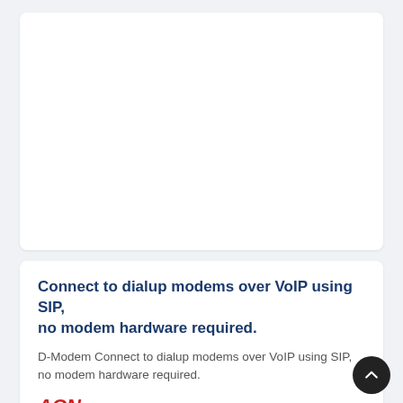Connect to dialup modems over VoIP using SIP, no modem hardware required.
D-Modem Connect to dialup modems over VoIP using SIP, no modem hardware required.
★ 49   🕐 Aug 26, 2022
Inter-process communication library to enable allocation between processes/threads and send/receive of allocated regions between producers/consumer processes or threads using this ipc buffer.
This is a relatively simple IPC buffer that allows multiple